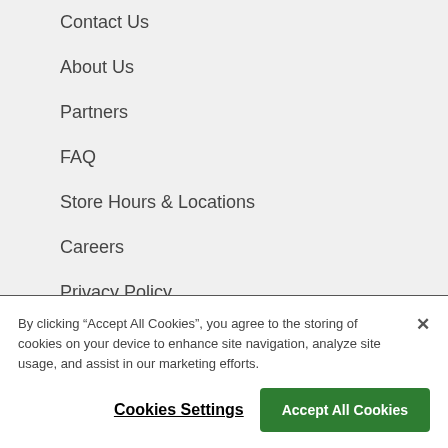Contact Us
About Us
Partners
FAQ
Store Hours & Locations
Careers
Privacy Policy
Terms and Conditions
By clicking “Accept All Cookies”, you agree to the storing of cookies on your device to enhance site navigation, analyze site usage, and assist in our marketing efforts.
Cookies Settings
Accept All Cookies